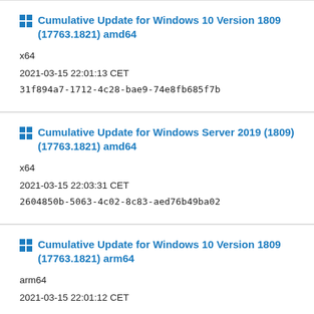Cumulative Update for Windows 10 Version 1809 (17763.1821) amd64
x64
2021-03-15 22:01:13 CET
31f894a7-1712-4c28-bae9-74e8fb685f7b
Cumulative Update for Windows Server 2019 (1809) (17763.1821) amd64
x64
2021-03-15 22:03:31 CET
2604850b-5063-4c02-8c83-aed76b49ba02
Cumulative Update for Windows 10 Version 1809 (17763.1821) arm64
arm64
2021-03-15 22:01:12 CET